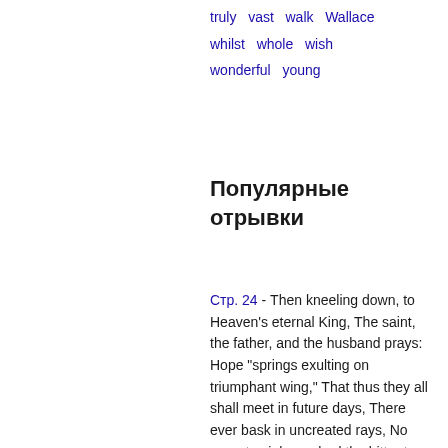truly  vast  walk  Wallace
whilst  whole  wish
wonderful  young
Популярные отрывки
Стр. 24 - Then kneeling down, to Heaven's eternal King, The saint, the father, and the husband prays: Hope "springs exulting on triumphant wing," That thus they all shall meet in future days, There ever bask in uncreated rays, No more to sigh, or shed the bitter tear, Together hymning their Creator's praise. In such society, yet still more dear; While